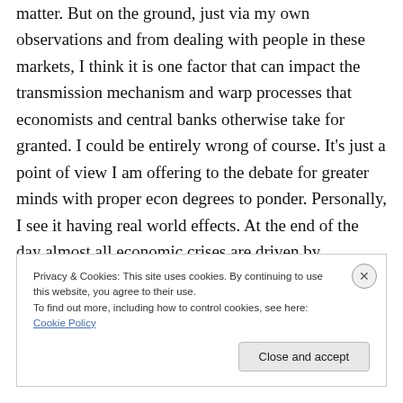matter. But on the ground, just via my own observations and from dealing with people in these markets, I think it is one factor that can impact the transmission mechanism and warp processes that economists and central banks otherwise take for granted. I could be entirely wrong of course. It's just a point of view I am offering to the debate for greater minds with proper econ degrees to ponder. Personally, I see it having real world effects. At the end of the day almost all economic crises are driven by
Privacy & Cookies: This site uses cookies. By continuing to use this website, you agree to their use.
To find out more, including how to control cookies, see here: Cookie Policy